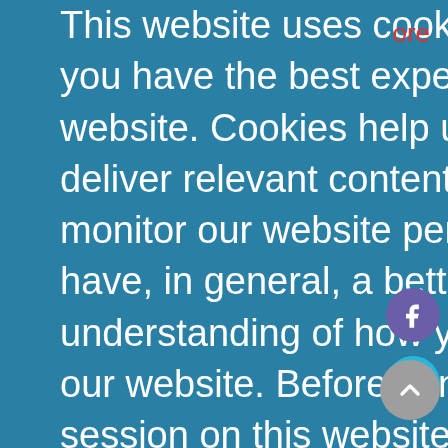This website uses cookies to ensure you have the best experience on our website. Cookies help us create and deliver relevant content, analyze and monitor our website performance and have, in general, a better understanding of how you interact with our website. Before continuing your session on this website, please take your time to read and understand our Cookie Policy and our Privacy Policy. If you continue to use this website, you express your consent in regards to the use of cookies according to our Cookie Policy. If you wish to opt-out, please follow the instructions from the Cookie Policy.
Got it!
ore
[Figure (photo): A partial photo visible on the right side behind the cookie overlay, appears to show a sky scene]
world unique attraction where death looses its tragic